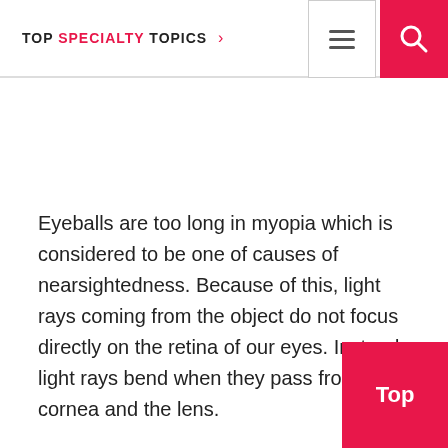TOP SPECIALTY TOPICS
Eyeballs are too long in myopia which is considered to be one of causes of nearsightedness. Because of this, light rays coming from the object do not focus directly on the retina of our eyes. Instead, light rays bend when they pass from cornea and the lens.
Myopia is also caused by too curved cornea and too thick lenses or due to a combination of these factors.